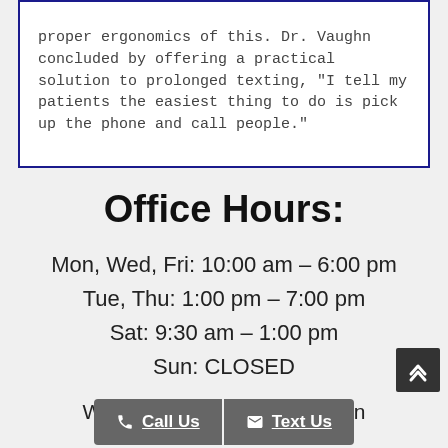proper ergonomics or this. Dr. Vaughn concluded by offering a practical solution to prolonged texting, "I tell my patients the easiest thing to do is pick up the phone and call people."
Office Hours:
Mon, Wed, Fri: 10:00 am – 6:00 pm
Tue, Thu: 1:00 pm – 7:00 pm
Sat: 9:30 am – 1:00 pm
Sun: CLOSED
Wal... elc... k an...